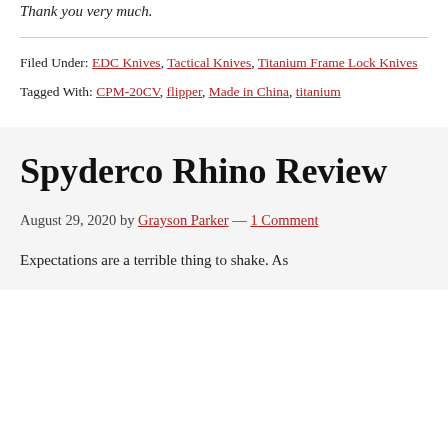Thank you very much.
Filed Under: EDC Knives, Tactical Knives, Titanium Frame Lock Knives
Tagged With: CPM-20CV, flipper, Made in China, titanium
Spyderco Rhino Review
August 29, 2020 by Grayson Parker — 1 Comment
Expectations are a terrible thing to shake. As